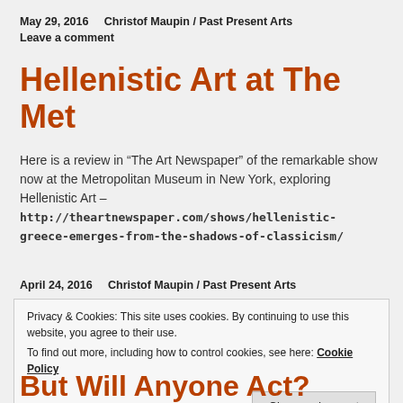May 29, 2016   Christof Maupin / Past Present Arts
Leave a comment
Hellenistic Art at The Met
Here is a review in “The Art Newspaper” of the remarkable show now at the Metropolitan Museum in New York, exploring Hellenistic Art – http://theartnewspaper.com/shows/hellenistic-greece-emerges-from-the-shadows-of-classicism/
April 24, 2016   Christof Maupin / Past Present Arts
Privacy & Cookies: This site uses cookies. By continuing to use this website, you agree to their use.
To find out more, including how to control cookies, see here: Cookie Policy
Close and accept
But Will Anyone Act?